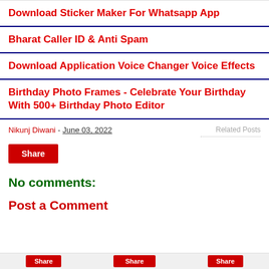Download Sticker Maker For Whatsapp App
Bharat Caller ID & Anti Spam
Download Application Voice Changer Voice Effects
Birthday Photo Frames - Celebrate Your Birthday With 500+ Birthday Photo Editor
Nikunj Diwani - June 03, 2022
Related Posts
Share
No comments:
Post a Comment